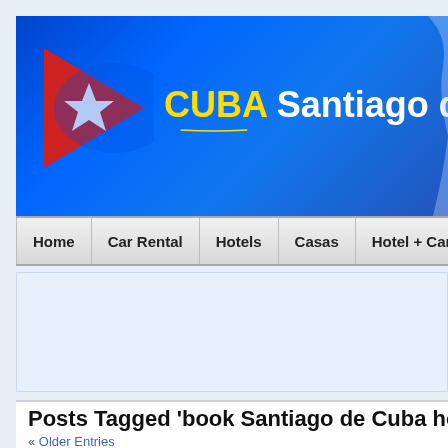[Figure (logo): Cuba Santiago de Cuba website banner with Cuban flag logo (red triangle with white star) and blue gradient background with map silhouette]
Home | Car Rental | Hotels | Casas | Hotel + Car | More Cuba
[Figure (other): Advertisement banner area]
Posts Tagged 'book Santiago de Cuba hote
« Older Entries
Hotel Rancho Club Santiago de Cuba
By cubatravel on Tuesday, March 18th, 2014 | Comments Off
Address: Alturas De Quintero, Km 1 1/2, Santiago de Cuba